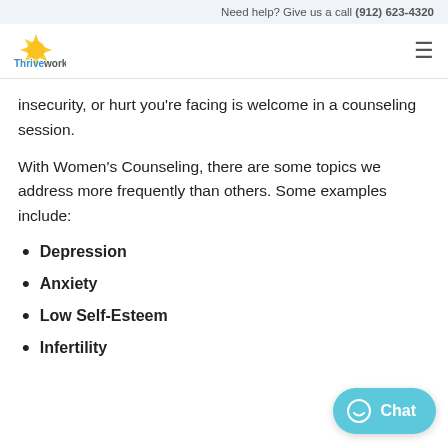Need help? Give us a call (912) 623-4320
[Figure (logo): Thriveworks logo with sun rays graphic and brand name]
insecurity, or hurt you're facing is welcome in a counseling session.
With Women's Counseling, there are some topics we address more frequently than others. Some examples include:
Depression
Anxiety
Low Self-Esteem
Infertility